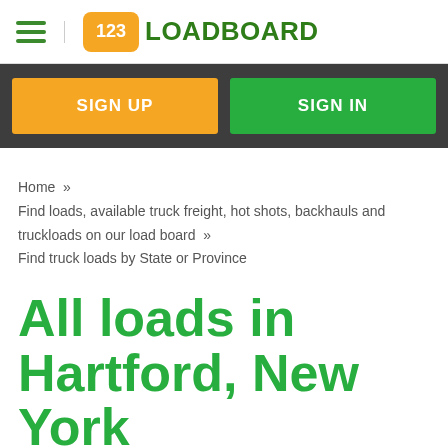123LOADBOARD
SIGN UP
SIGN IN
Home » Find loads, available truck freight, hot shots, backhauls and truckloads on our load board » Find truck loads by State or Province
All loads in Hartford, New York